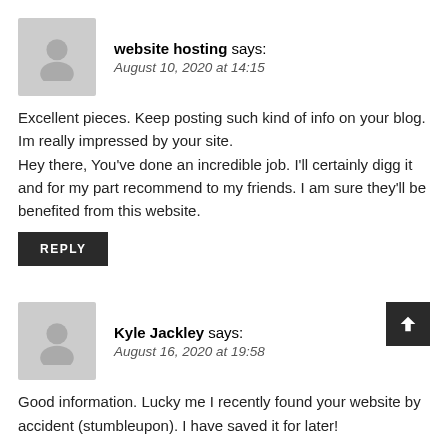[Figure (illustration): Grey avatar placeholder icon for comment author 'website hosting']
website hosting says:
August 10, 2020 at 14:15
Excellent pieces. Keep posting such kind of info on your blog. Im really impressed by your site.
Hey there, You've done an incredible job. I'll certainly digg it and for my part recommend to my friends. I am sure they'll be benefited from this website.
REPLY
[Figure (illustration): Grey avatar placeholder icon for comment author 'Kyle Jackley']
Kyle Jackley says:
August 16, 2020 at 19:58
Good information. Lucky me I recently found your website by accident (stumbleupon). I have saved it for later!
REPLY